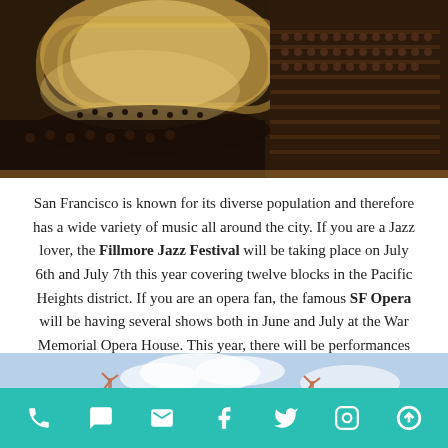[Figure (photo): Interior panoramic view of a grand opera house with full orchestra on stage and packed audience seating]
San Francisco is known for its diverse population and therefore has a wide variety of music all around the city. If you are a Jazz lover, the Fillmore Jazz Festival will be taking place on July 6th and July 7th this year covering twelve blocks in the Pacific Heights district. If you are an opera fan, the famous SF Opera will be having several shows both in June and July at the War Memorial Opera House. This year, there will be performances including Don Giovanni, Rigoletto, and many more!
[Figure (photo): Outside Lands music festival stage with decorative wicker/lattice facade and windmill decorations, colorful Outside Lands logo sign, cloudy sky background]
Navigation bar with phone, chat, email, Facebook, Twitter, Instagram, and scroll-up icons